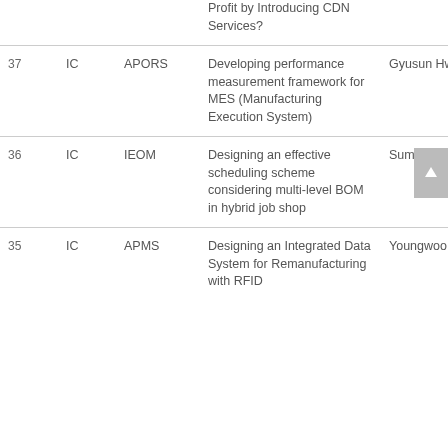| # | Type | Conference | Title | Author |
| --- | --- | --- | --- | --- |
|  |  |  | Profit by Introducing CDN Services? |  |
| 37 | IC | APORS | Developing performance measurement framework for MES (Manufacturing Execution System) | Gyusun Hwang |
| 36 | IC | IEOM | Designing an effective scheduling scheme considering multi-level BOM in hybrid job shop | Sumin Han |
| 35 | IC | APMS | Designing an Integrated Data System for Remanufacturing with RFID... | Youngwoo Kim |